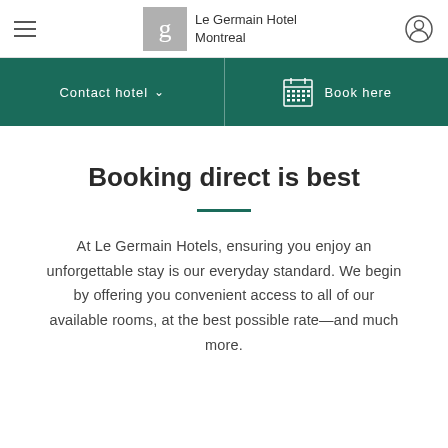Le Germain Hotel Montreal
Contact hotel   Book here
Booking direct is best
At Le Germain Hotels, ensuring you enjoy an unforgettable stay is our everyday standard. We begin by offering you convenient access to all of our available rooms, at the best possible rate—and much more.